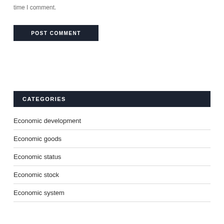time I comment.
POST COMMENT
CATEGORIES
Economic development
Economic goods
Economic status
Economic stock
Economic system